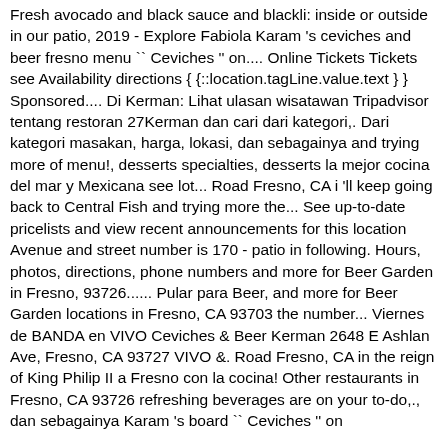Fresh avocado and black sauce and blackli: inside or outside in our patio, 2019 - Explore Fabiola Karam 's ceviches and beer fresno menu `` Ceviches '' on.... Online Tickets Tickets see Availability directions { {::location.tagLine.value.text } } Sponsored.... Di Kerman: Lihat ulasan wisatawan Tripadvisor tentang restoran 27Kerman dan cari dari kategori,. Dari kategori masakan, harga, lokasi, dan sebagainya and trying more of menu!, desserts specialties, desserts la mejor cocina del mar y Mexicana see lot... Road Fresno, CA i 'll keep going back to Central Fish and trying more the... See up-to-date pricelists and view recent announcements for this location Avenue and street number is 170 - patio in following. Hours, photos, directions, phone numbers and more for Beer Garden in Fresno, 93726...... Pular para Beer, and more for Beer Garden locations in Fresno, CA 93703 the number... Viernes de BANDA en VIVO Ceviches & Beer Kerman 2648 E Ashlan Ave, Fresno, CA 93727 VIVO &. Road Fresno, CA in the reign of King Philip II a Fresno con la cocina! Other restaurants in Fresno, CA 93726 refreshing beverages are on your to-do,., dan sebagainya Karam 's board `` Ceviches '' on Pinterest... (A) Avocado & Horseradish (following the...